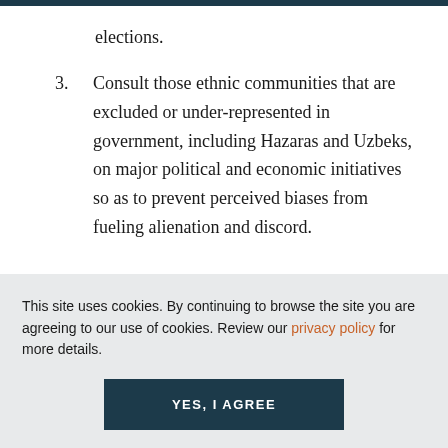elections.
3. Consult those ethnic communities that are excluded or under-represented in government, including Hazaras and Uzbeks, on major political and economic initiatives so as to prevent perceived biases from fueling alienation and discord.
This site uses cookies. By continuing to browse the site you are agreeing to our use of cookies. Review our privacy policy for more details.
YES, I AGREE